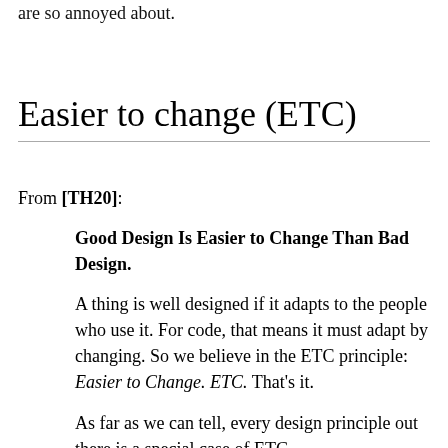are so annoyed about.
Easier to change (ETC)
From [TH20]:
Good Design Is Easier to Change Than Bad Design.
A thing is well designed if it adapts to the people who use it. For code, that means it must adapt by changing. So we believe in the ETC principle: Easier to Change. ETC. That's it.
As far as we can tell, every design principle out there is a special case of ETC.
Why is decoupling good? Because by isolating concerns we make each easier to change. ETC.
Why is the single responsibility principle of d?